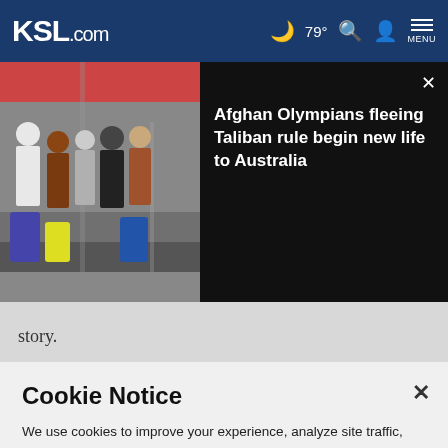KSL.com  79°  MENU
[Figure (photo): A group of people with luggage in an airport or transit area. News headline overlay: 'Afghan Olympians fleeing Taliban rule begin new life to Australia' with a close button.]
story.
SYDNEY (AP)  —  Australia's football federation and players'
Cookie Notice
We use cookies to improve your experience, analyze site traffic, and to personalize content and ads. By continuing to use our site, you consent to our use of cookies. Please visit our Terms of Use and  Privacy Policy for more information.
Continue